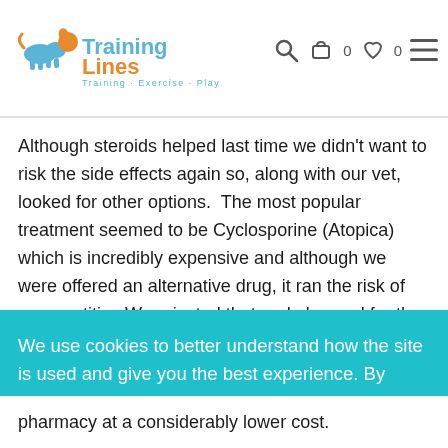TrainingLines - Training · Exercise · Play
Although steroids helped last time we didn't want to risk the side effects again so, along with our vet, looked for other options.  The most popular treatment seemed to be Cyclosporine (Atopica) which is incredibly expensive and although we were offered an alternative drug, it ran the risk of pancreatitis.  We rejected that and plumped for the cyclo, combined with Ketoconozole, which reduced the cyclosporine dose and therefore the cost.  Having agonised over it and
We use cookies to better understand how the site is used and give you the best experience. By continuing to use this site, you consent to our Cookie Policy. Click to learn more
pharmacy at a considerably lower cost.